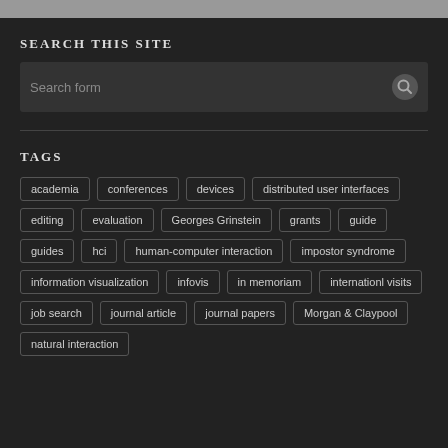SEARCH THIS SITE
[Figure (other): Search form input box with magnifying glass icon on dark background]
TAGS
academia conferences devices distributed user interfaces editing evaluation Georges Grinstein grants guide guides hci human-computer interaction impostor syndrome information visualization infovis in memoriam internationl visits job search journal article journal papers Morgan & Claypool natural interaction